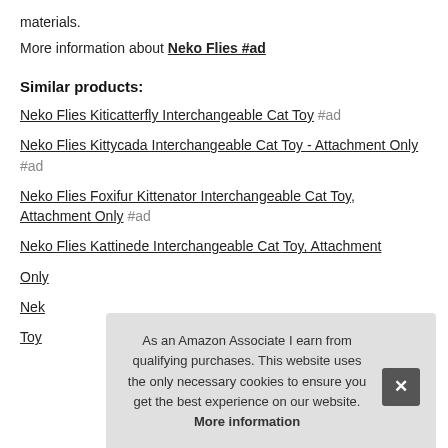materials.
More information about Neko Flies #ad
Similar products:
Neko Flies Kiticatterfly Interchangeable Cat Toy #ad
Neko Flies Kittycada Interchangeable Cat Toy - Attachment Only #ad
Neko Flies Foxifur Kittenator Interchangeable Cat Toy, Attachment Only #ad
Neko Flies Kattinede Interchangeable Cat Toy, Attachment Only
Neko [Flies ...] [Toy...]
Neko Flies [Koi...] Interchangeable Cat Toy, Attachment...
As an Amazon Associate I earn from qualifying purchases. This website uses the only necessary cookies to ensure you get the best experience on our website. More information